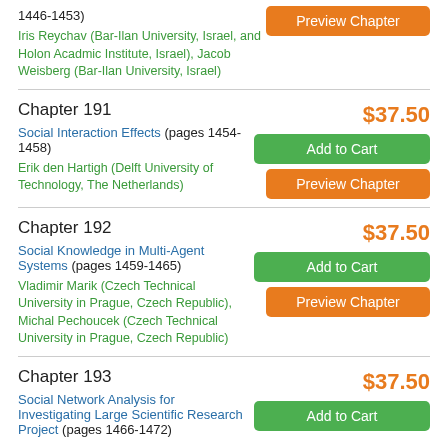1446-1453)
Iris Reychav (Bar-Ilan University, Israel, and Holon Acadmic Institute, Israel), Jacob Weisberg (Bar-Ilan University, Israel)
Chapter 191
Social Interaction Effects (pages 1454-1458)
Erik den Hartigh (Delft University of Technology, The Netherlands)
$37.50
Chapter 192
Social Knowledge in Multi-Agent Systems (pages 1459-1465)
Vladimir Marik (Czech Technical University in Prague, Czech Republic), Michal Pechoucek (Czech Technical University in Prague, Czech Republic)
$37.50
Chapter 193
Social Network Analysis for Investigating Large Scientific Research Project (pages 1466-1472)
$37.50